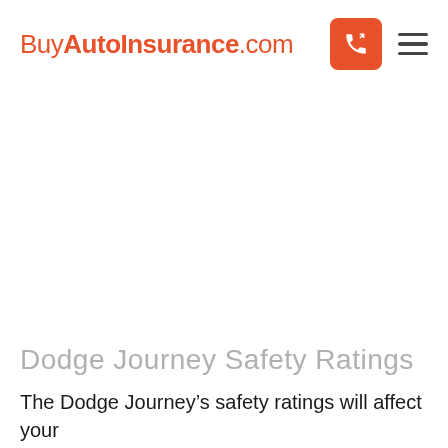BuyAutoInsurance.com
Dodge Journey Safety Ratings
The Dodge Journey's safety ratings will affect your